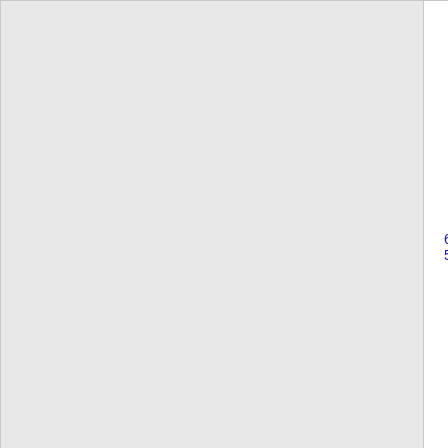|  | NPA-NXX | State | Carrier |  |
| --- | --- | --- | --- | --- |
|  | 650-569-2 | CA | PACIFIC BELL (AT&T) | S |
|  | 650-569-3 | CA | PACIFIC BELL (AT&T) | S |